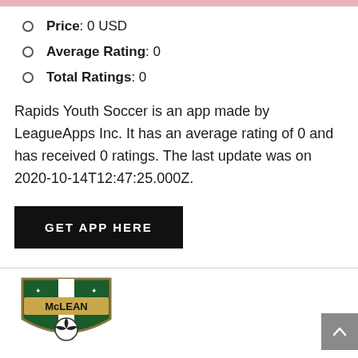Price: 0 USD
Average Rating: 0
Total Ratings: 0
Rapids Youth Soccer is an app made by LeagueApps Inc. It has an average rating of 0 and has received 0 ratings. The last update was on 2020-10-14T12:47:25.000Z.
[Figure (other): Black button with white uppercase text: GET APP HERE]
[Figure (logo): McLean Youth Soccer club shield logo, dark green and gold with soccer ball motif]